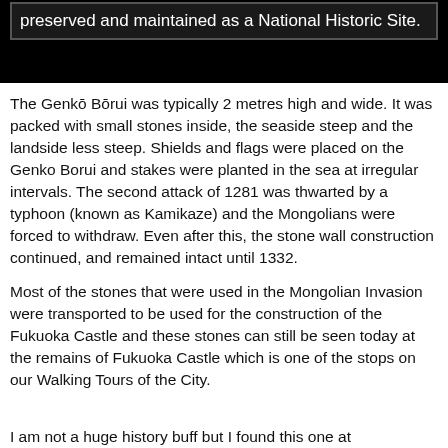preserved and maintained as a National Historic Site.
The Genkō Bōrui was typically 2 metres high and wide. It was packed with small stones inside, the seaside steep and the landside less steep. Shields and flags were placed on the Genko Borui and stakes were planted in the sea at irregular intervals. The second attack of 1281 was thwarted by a typhoon (known as Kamikaze) and the Mongolians were forced to withdraw. Even after this, the stone wall construction continued, and remained intact until 1332.
Most of the stones that were used in the Mongolian Invasion were transported to be used for the construction of the Fukuoka Castle and these stones can still be seen today at the remains of Fukuoka Castle which is one of the stops on our Walking Tours of the City.
I am not a huge history buff but I found this one at